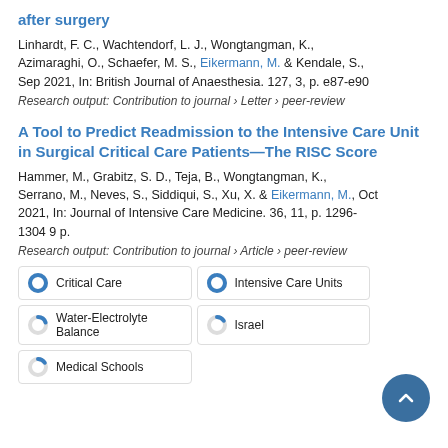after surgery
Linhardt, F. C., Wachtendorf, L. J., Wongtangman, K., Azimaraghi, O., Schaefer, M. S., Eikermann, M. & Kendale, S., Sep 2021, In: British Journal of Anaesthesia. 127, 3, p. e87-e90
Research output: Contribution to journal › Letter › peer-review
A Tool to Predict Readmission to the Intensive Care Unit in Surgical Critical Care Patients—The RISC Score
Hammer, M., Grabitz, S. D., Teja, B., Wongtangman, K., Serrano, M., Neves, S., Siddiqui, S., Xu, X. & Eikermann, M., Oct 2021, In: Journal of Intensive Care Medicine. 36, 11, p. 1296-1304 9 p.
Research output: Contribution to journal › Article › peer-review
Critical Care
Intensive Care Units
Water-Electrolyte Balance
Israel
Medical Schools